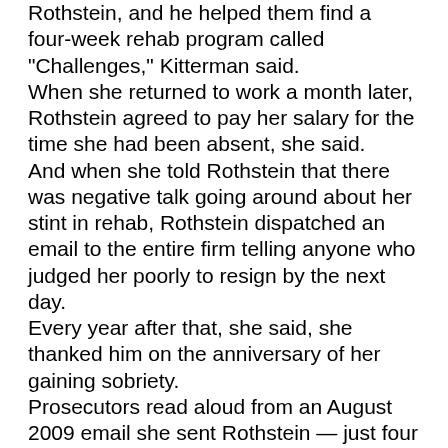Rothstein, and he helped them find a four-week rehab program called "Challenges," Kitterman said. When she returned to work a month later, Rothstein agreed to pay her salary for the time she had been absent, she said. And when she told Rothstein that there was negative talk going around about her stint in rehab, Rothstein dispatched an email to the entire firm telling anyone who judged her poorly to resign by the next day. Every year after that, she said, she thanked him on the anniversary of her gaining sobriety. Prosecutors read aloud from an August 2009 email she sent Rothstein — just four months after the conference call and two months before the law firm imploded. In it, she thanked him for his "friendship, love and support" and wrote that "words cannot express" the debt of gratitude she and her family owed to him. Kitterman testified that she has remained clean and sober to this day. She said she is proud of